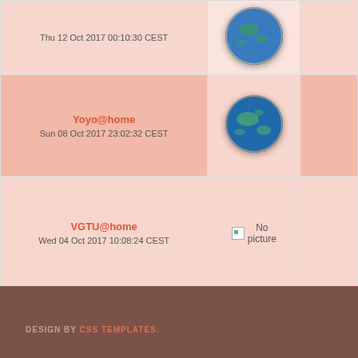| Name/Date | Image | Extra |
| --- | --- | --- |
| Thu 12 Oct 2017 00:10:30 CEST | [globe image] |  |
| Yoyo@home
Sun 08 Oct 2017 23:02:32 CEST | [globe image] |  |
| VGTU@home
Wed 04 Oct 2017 10:08:24 CEST | No picture |  |
| Yafu
Mon 02 Oct 2017 17:07:11 CEST |  |  |
Previous 50
DESIGN BY CSS TEMPLATES.